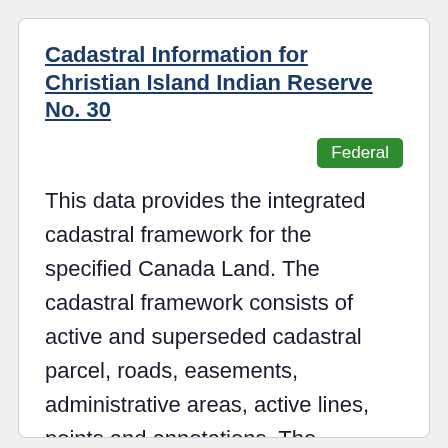Cadastral Information for Christian Island Indian Reserve No. 30
Federal
This data provides the integrated cadastral framework for the specified Canada Land. The cadastral framework consists of active and superseded cadastral parcel, roads, easements, administrative areas, active lines, points and annotations. The cadastral lines form the boundaries of the parcels. COGO attributes are associated to the lines and depict the